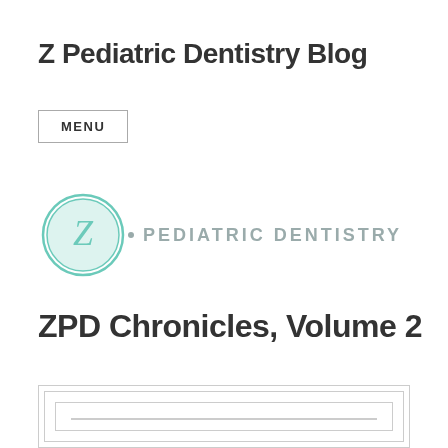Z Pediatric Dentistry Blog
MENU
[Figure (logo): Z Pediatric Dentistry logo with teal circular Z icon and text '• PEDIATRIC DENTISTRY' in grey letterforms]
ZPD Chronicles, Volume 2
[Figure (illustration): Decorative nested rectangle border placeholder image]